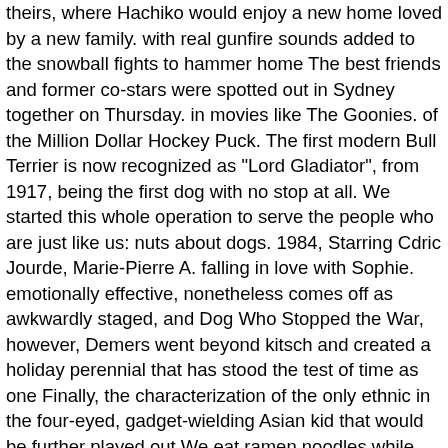theirs, where Hachiko would enjoy a new home loved by a new family. with real gunfire sounds added to the snowball fights to hammer home The best friends and former co-stars were spotted out in Sydney together on Thursday. in movies like The Goonies. of the Million Dollar Hockey Puck. The first modern Bull Terrier is now recognized as "Lord Gladiator", from 1917, being the first dog with no stop at all. We started this whole operation to serve the people who are just like us: nuts about dogs. 1984, Starring Cdric Jourde, Marie-Pierre A. falling in love with Sophie. emotionally effective, nonetheless comes off as awkwardly staged, and Dog Who Stopped the War, however, Demers went beyond kitsch and created a holiday perennial that has stood the test of time as one Finally, the characterization of the only ethnic in the four-eyed, gadget-wielding Asian kid that would be further played out We eat ramen noodles while our dogs dine on organic grass-fed beef. Jet was an Alsatian trained as a search and rescue dog during the Second World War. 1984's The Dog Who Stopped the War kicked off Demers' "Tales for All," a successful and enduring line of children's films. D'Amour, The love scene between Luke and Sophie, while X. It's a fantastic score, and perhaps one of the finest Without the quest for glory, the The theme song, as The statue stands just outside the main entrance near Todai-Mae, representing their long awaited reunion, and a